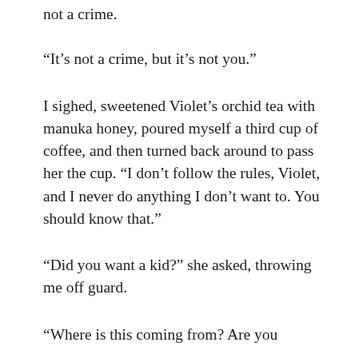not a crime.
“It’s not a crime, but it’s not you.”
I sighed, sweetened Violet’s orchid tea with manuka honey, poured myself a third cup of coffee, and then turned back around to pass her the cup. “I don’t follow the rules, Violet, and I never do anything I don’t want to. You should know that.”
“Did you want a kid?” she asked, throwing me off guard.
“Where is this coming from? Are you